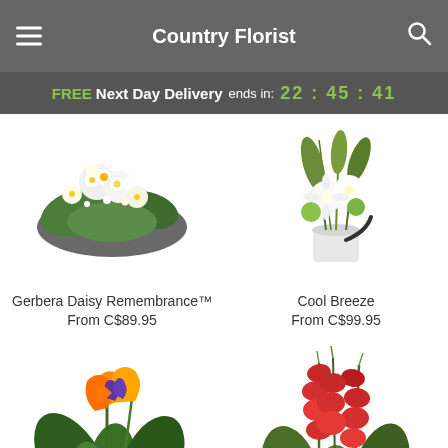Country Florist
FREE Next Day Delivery ends in: 22:45:41
[Figure (photo): Gerbera Daisy Remembrance bouquet with white gerberas, white flowers, and greenery on a dark wrap]
Gerbera Daisy Remembrance™
From C$89.95
[Figure (photo): Cool Breeze arrangement in white vase with white gerberas, green carnations, and tall greenery]
Cool Breeze
From C$99.95
[Figure (photo): Tropical arrangement with bird of paradise orange flowers and large green leaves]
[Figure (photo): Tall arrangement with red gladiolus spikes and tropical foliage]